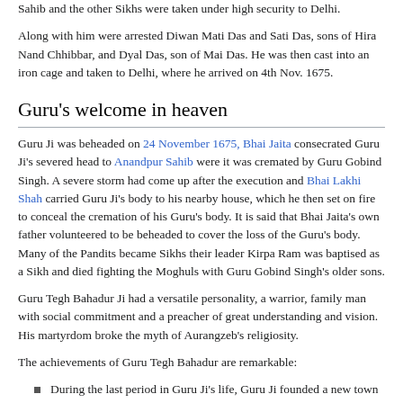Sahib and the other Sikhs were taken under high security to Delhi.
Along with him were arrested Diwan Mati Das and Sati Das, sons of Hira Nand Chhibbar, and Dyal Das, son of Mai Das. He was then cast into an iron cage and taken to Delhi, where he arrived on 4th Nov. 1675.
Guru's welcome in heaven
Guru Ji was beheaded on 24 November 1675, Bhai Jaita consecrated Guru Ji's severed head to Anandpur Sahib were it was cremated by Guru Gobind Singh. A severe storm had come up after the execution and Bhai Lakhi Shah carried Guru Ji's body to his nearby house, which he then set on fire to conceal the cremation of his Guru's body. It is said that Bhai Jaita's own father volunteered to be beheaded to cover the loss of the Guru's body. Many of the Pandits became Sikhs their leader Kirpa Ram was baptised as a Sikh and died fighting the Moghuls with Guru Gobind Singh's older sons.
Guru Tegh Bahadur Ji had a versatile personality, a warrior, family man with social commitment and a preacher of great understanding and vision. His martyrdom broke the myth of Aurangzeb's religiosity.
The achievements of Guru Tegh Bahadur are remarkable:
During the last period in Guru Ji's life, Guru Ji founded a new town called Anandpur Sahib (City of Bliss) and went on missionary tours to UP and Bengal. Guru Ji also initiated welfare projects all over northern